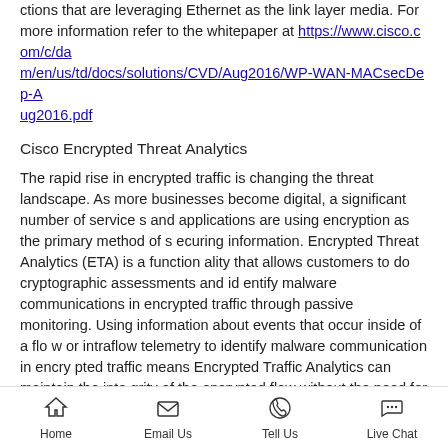ctions that are leveraging Ethernet as the link layer media. For more information refer to the whitepaper at https://www.cisco.com/c/dam/en/us/td/docs/solutions/CVD/Aug2016/WP-WAN-MACsecDep-Aug2016.pdf
Cisco Encrypted Threat Analytics
The rapid rise in encrypted traffic is changing the threat landscape. As more businesses become digital, a significant number of services and applications are using encryption as the primary method of securing information. Encrypted Threat Analytics (ETA) is a functionality that allows customers to do cryptographic assessments and identify malware communications in encrypted traffic through passive monitoring. Using information about events that occur inside of a flow or intraflow telemetry to identify malware communication in encrypted traffic means Encrypted Traffic Analytics can maintain the integrity of the encrypted flow without the need for bulk decryption. For more information and platform support refer to https://www.cisco.co
Home | Email Us | Tell Us | Live Chat